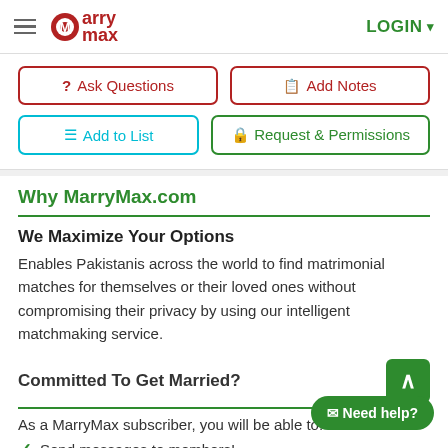MarryMax - LOGIN
[Figure (screenshot): Navigation buttons: Ask Questions, Add Notes, Add to List, Request & Permissions]
Why MarryMax.com
We Maximize Your Options
Enables Pakistanis across the world to find matrimonial matches for themselves or their loved ones without compromising their privacy by using our intelligent matchmaking service.
Committed To Get Married?
As a MarryMax subscriber, you will be able to:
Send messages to members!